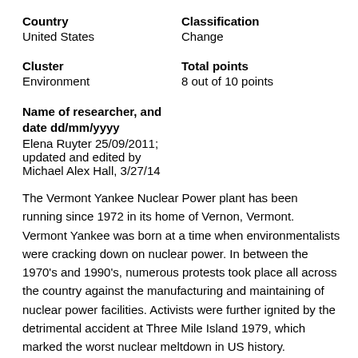Country
United States
Classification
Change
Cluster
Environment
Total points
8 out of 10 points
Name of researcher, and date dd/mm/yyyy
Elena Ruyter 25/09/2011; updated and edited by Michael Alex Hall, 3/27/14
The Vermont Yankee Nuclear Power plant has been running since 1972 in its home of Vernon, Vermont. Vermont Yankee was born at a time when environmentalists were cracking down on nuclear power. In between the 1970's and 1990's, numerous protests took place all across the country against the manufacturing and maintaining of nuclear power facilities. Activists were further ignited by the detrimental accident at Three Mile Island 1979, which marked the worst nuclear meltdown in US history.